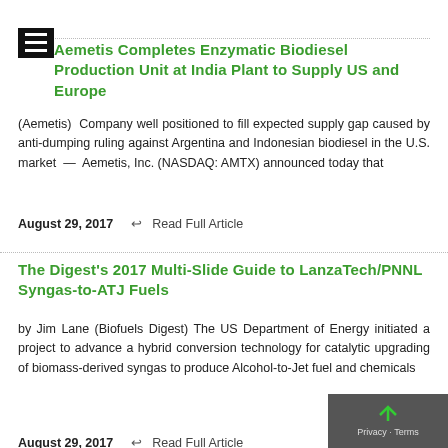Aemetis Completes Enzymatic Biodiesel Production Unit at India Plant to Supply US and Europe
(Aemetis) Company well positioned to fill expected supply gap caused by anti-dumping ruling against Argentina and Indonesian biodiesel in the U.S. market — Aemetis, Inc. (NASDAQ: AMTX) announced today that
August 29, 2017    Read Full Article
The Digest's 2017 Multi-Slide Guide to LanzaTech/PNNL Syngas-to-ATJ Fuels
by Jim Lane (Biofuels Digest) The US Department of Energy initiated a project to advance a hybrid conversion technology for catalytic upgrading of biomass-derived syngas to produce Alcohol-to-Jet fuel and chemicals
August 29, 2017    Read Full Article
More Ethanol Equals Improved Air Quality and Reduced Oil Dependency